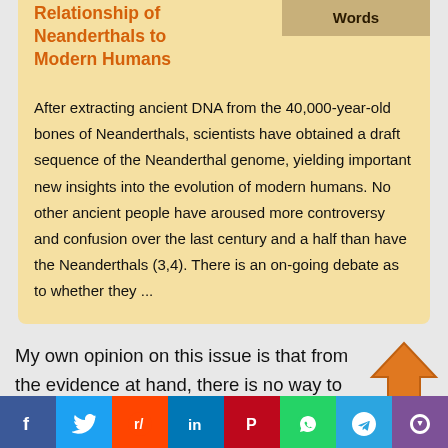Relationship of Neanderthals to Modern Humans
After extracting ancient DNA from the 40,000-year-old bones of Neanderthals, scientists have obtained a draft sequence of the Neanderthal genome, yielding important new insights into the evolution of modern humans. No other ancient people have aroused more controversy and confusion over the last century and a half than have the Neanderthals (3,4). There is an on-going debate as to whether they ...
My own opinion on this issue is that from the evidence at hand, there is no way to
[Figure (other): Orange upward arrow icon]
f  [Twitter]  [Reddit]  in  P  [WhatsApp]  [Telegram]  [Viber]